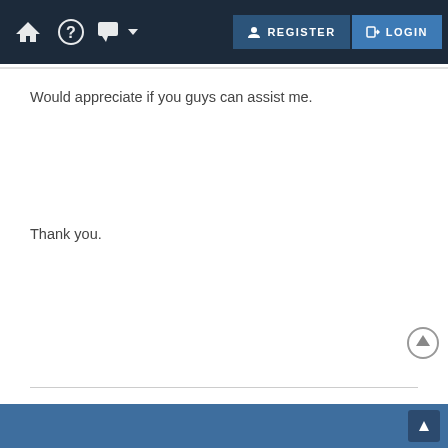REGISTER LOGIN
Would appreciate if you guys can assist me.
Thank you.